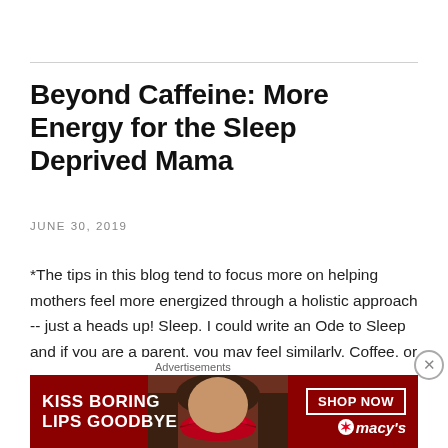Beyond Caffeine: More Energy for the Sleep Deprived Mama
JUNE 30, 2019
*The tips in this blog tend to focus more on helping mothers feel more energized through a holistic approach -- just a heads up! Sleep. I could write an Ode to Sleep and if you are a parent, you may feel similarly. Coffee, or a Five Hour Energy, are both ways to give you a … Continue reading
Advertisements
[Figure (other): Macy's advertisement banner with red background showing lips, text 'KISS BORING LIPS GOODBYE', 'SHOP NOW' button, and Macy's logo with star]